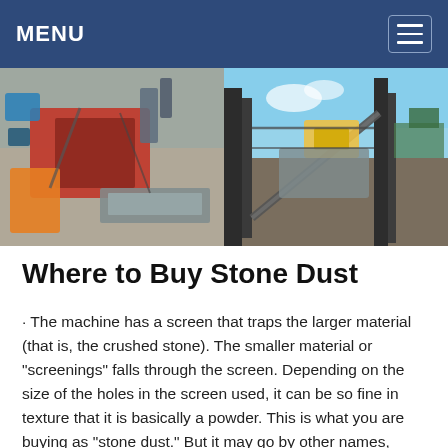MENU
[Figure (photo): Two photos side by side of stone crushing/screening industrial machinery and equipment at a quarry site.]
Where to Buy Stone Dust
· The machine has a screen that traps the larger material (that is, the crushed stone). The smaller material or "screenings" falls through the screen. Depending on the size of the holes in the screen used, it can be so fine in texture that it is basically a powder. This is what you are buying as "stone dust." But it may go by other names, such as: